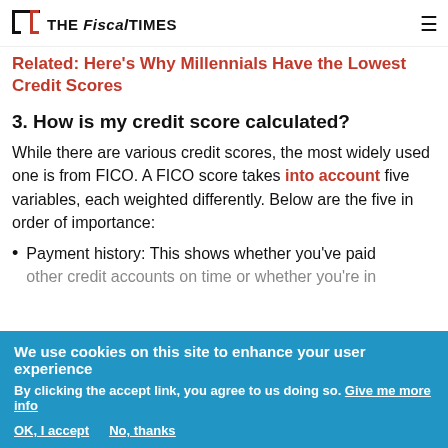The Fiscal Times
Related: Here's Why Millennials Have the Lowest Credit Scores
3. How is my credit score calculated?
While there are various credit scores, the most widely used one is from FICO. A FICO score takes into account five variables, each weighted differently. Below are the five in order of importance:
Payment history: This shows whether you've paid other credit accounts on time or whether you're in...
We use cookies on this site to enhance your user experience
By clicking the accept link, you agree to us doing so. Give me more info
OK, I accept   No, thanks